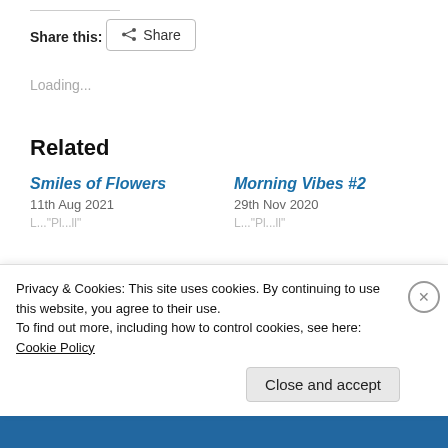Share this:
Share
Loading...
Related
Smiles of Flowers
11th Aug 2021
Morning Vibes #2
29th Nov 2020
Privacy & Cookies: This site uses cookies. By continuing to use this website, you agree to their use.
To find out more, including how to control cookies, see here: Cookie Policy
Close and accept